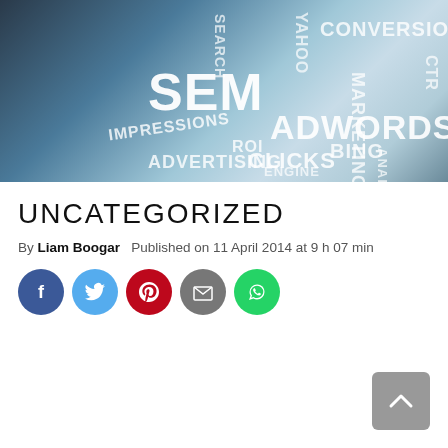[Figure (photo): SEM word cloud image featuring terms like ADWORDS, CONVERSIONS, CLICKS, IMPRESSIONS, ADVERTISING, MARKETING, BING, YAHOO, CTR, ROI, ANALYTICS on a light blue background]
UNCATEGORIZED
By Liam Boogar   Published on 11 April 2014 at 9 h 07 min
[Figure (infographic): Social share buttons: Facebook (blue), Twitter (light blue), Pinterest (red), Email (grey), WhatsApp (green)]